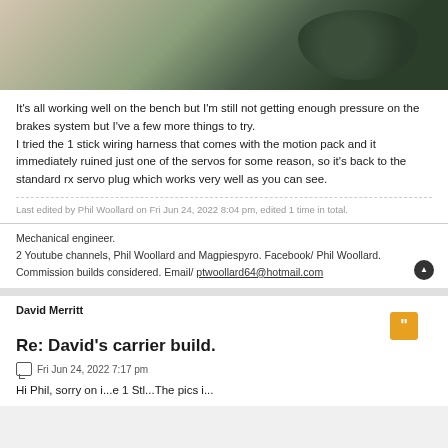[Figure (photo): Photo of tank model tracks and wheels on a workbench with pink foam pieces]
It's all working well on the bench but I'm still not getting enough pressure on the brakes system but I've a few more things to try.
I tried the 1 stick wiring harness that comes with the motion pack and it immediately ruined just one of the servos for some reason, so it's back to the standard rx servo plug which works very well as you can see.
Last edited by Phil Woollard on Fri Jun 24, 2022 8:04 pm, edited 1 time in total.
Mechanical engineer.
2 Youtube channels, Phil Woollard and Magpiespyro. Facebook/ Phil Woollard.
Commission builds considered. Email/ ptwoollard64@hotmail.com
David Merritt
Re: David's carrier build.
Fri Jun 24, 2022 7:17 pm
Hi Phil, sorry on i...e 1 St.l...The pics i...a you can see...